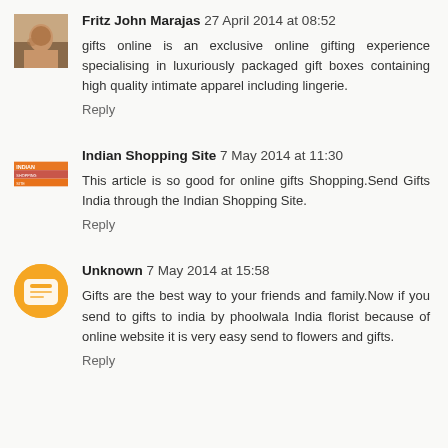Fritz John Marajas 27 April 2014 at 08:52
gifts online is an exclusive online gifting experience specialising in luxuriously packaged gift boxes containing high quality intimate apparel including lingerie.
Reply
Indian Shopping Site 7 May 2014 at 11:30
This article is so good for online gifts Shopping.Send Gifts India through the Indian Shopping Site.
Reply
Unknown 7 May 2014 at 15:58
Gifts are the best way to your friends and family.Now if you send to gifts to india by phoolwala India florist because of online website it is very easy send to flowers and gifts.
Reply